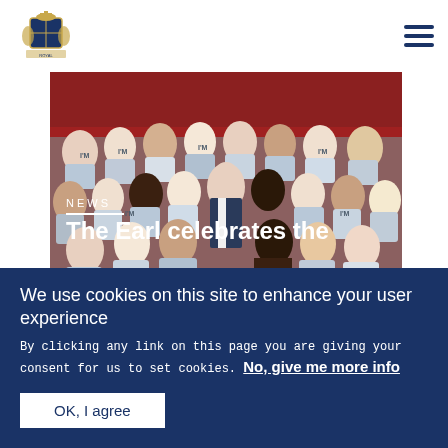[Figure (logo): Royal coat of arms logo in blue and gold]
[Figure (photo): Group photo of many young people wearing matching tie-dye t-shirts, with one person in a suit in the center, in a red-seated auditorium]
NEWS
The Earl celebrates the
We use cookies on this site to enhance your user experience
By clicking any link on this page you are giving your consent for us to set cookies. No, give me more info
OK, I agree